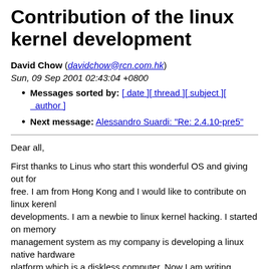Contribution of the linux kernel development
David Chow (davidchow@rcn.com.hk)
Sun, 09 Sep 2001 02:43:04 +0800
Messages sorted by: [ date ][ thread ][ subject ][ author ]
Next message: Alessandro Suardi: "Re: 2.4.10-pre5"
Dear all,

First thanks to Linus who start this wonderful OS and giving out for
free. I am from Hong Kong and I would like to contribute on linux kerenl
developments. I am a newbie to linux kernel hacking. I started on memory
management system as my company is developing a linux native hardware
platform which is a diskless computer. Now I am writing experimental